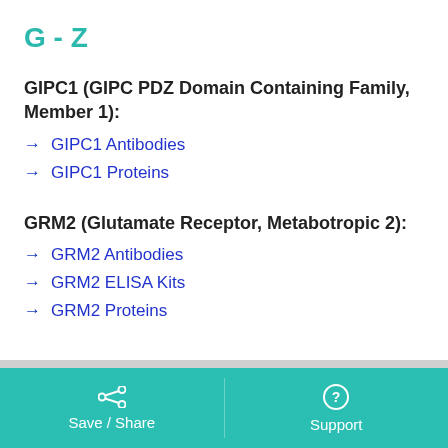G - Z
GIPC1 (GIPC PDZ Domain Containing Family, Member 1):
GIPC1 Antibodies
GIPC1 Proteins
GRM2 (Glutamate Receptor, Metabotropic 2):
GRM2 Antibodies
GRM2 ELISA Kits
GRM2 Proteins
Save / Share   Support